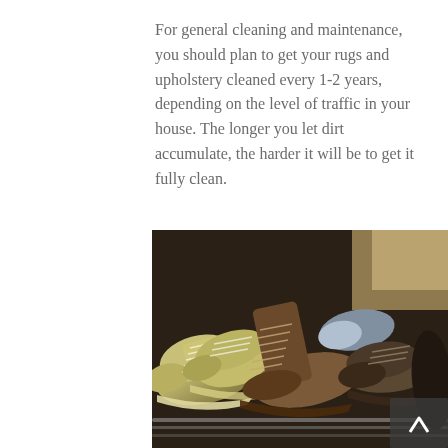For general cleaning and maintenance, you should plan to get your rugs and upholstery cleaned every 1-2 years, depending on the level of traffic in your house. The longer you let dirt accumulate, the harder it will be to get it fully clean.
[Figure (photo): A close-up photograph of multiple pairs of shoes arranged on a shoe rack, including yellow/olive canvas sneakers with white laces, brown leather lace-up shoes, gray/blue sneakers, and dark brown suede shoes. A scroll-up arrow button is visible in the bottom right corner of the image.]